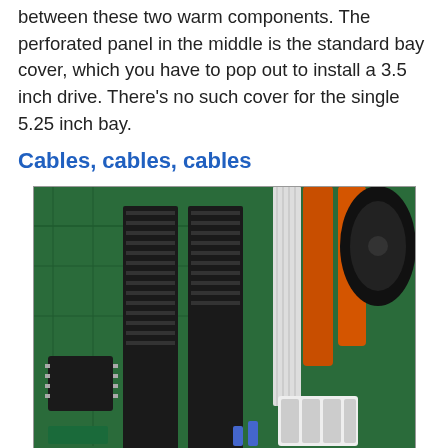between these two warm components. The perforated panel in the middle is the standard bay cover, which you have to pop out to install a 3.5 inch drive. There's no such cover for the single 5.25 inch bay.
Cables, cables, cables
[Figure (photo): Close-up photo of a computer motherboard interior showing IDE/PATA ribbon cable connectors, orange and white power cables, and green circuit board with various components.]
You'll need to plug various things in now. The only really confusing part is getting the wide, flat "ribbon" cables for the drives around the right way. There's a red-striped wire on one edge of every ribbon cable; it denotes the side that should be connected to Pin 1 on each drive and motherboard socket.